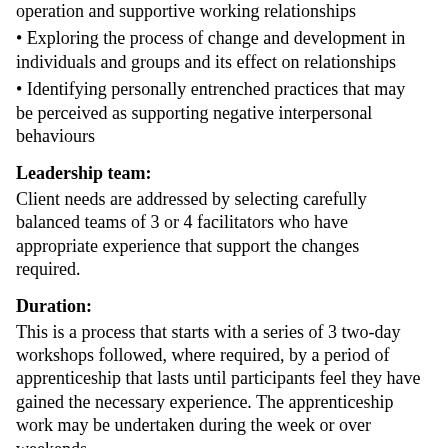operation and supportive working relationships
Exploring the process of change and development in individuals and groups and its effect on relationships
Identifying personally entrenched practices that may be perceived as supporting negative interpersonal behaviours
Leadership team:
Client needs are addressed by selecting carefully balanced teams of 3 or 4 facilitators who have appropriate experience that support the changes required.
Duration:
This is a process that starts with a series of 3 two-day workshops followed, where required, by a period of apprenticeship that lasts until participants feel they have gained the necessary experience. The apprenticeship work may be undertaken during the week or over weekends.
Costs:
We shall be pleased to provide a quote which